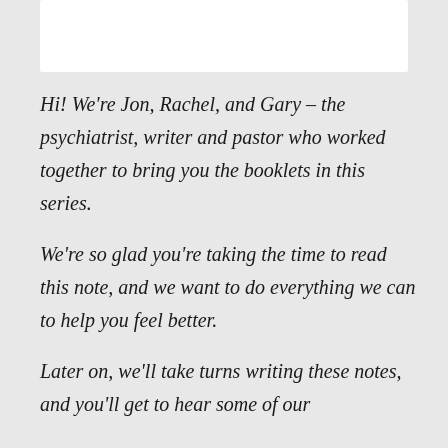[Figure (other): White rectangular box at top of page, likely an image placeholder]
Hi! We're Jon, Rachel, and Gary – the psychiatrist, writer and pastor who worked together to bring you the booklets in this series.
We're so glad you're taking the time to read this note, and we want to do everything we can to help you feel better.
Later on, we'll take turns writing these notes, and you'll get to hear some of our